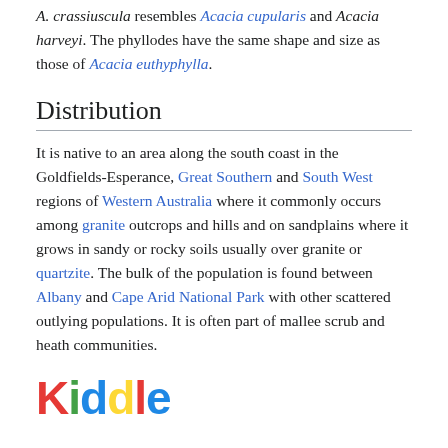A. crassiuscula resembles Acacia cupularis and Acacia harveyi. The phyllodes have the same shape and size as those of Acacia euthyphylla.
Distribution
It is native to an area along the south coast in the Goldfields-Esperance, Great Southern and South West regions of Western Australia where it commonly occurs among granite outcrops and hills and on sandplains where it grows in sandy or rocky soils usually over granite or quartzite. The bulk of the population is found between Albany and Cape Arid National Park with other scattered outlying populations. It is often part of mallee scrub and heath communities.
[Figure (logo): Kiddle logo in multicolor text]